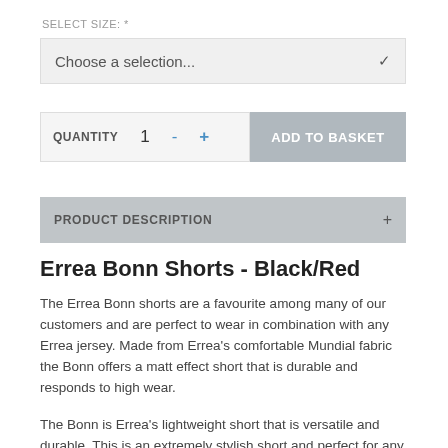SELECT SIZE: *
Choose a selection...
QUANTITY   1   -   +   ADD TO BASKET
PRODUCT DESCRIPTION
Errea Bonn Shorts - Black/Red
The Errea Bonn shorts are a favourite among many of our customers and are perfect to wear in combination with any Errea jersey. Made from Errea's comfortable Mundial fabric the Bonn offers a matt effect short that is durable and responds to high wear.
The Bonn is Errea's lightweight short that is versatile and durable. This is an extremely stylish short and perfect for any